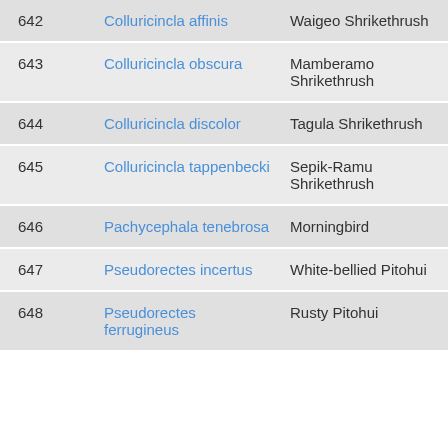| 642 | Colluricincla affinis | Waigeo Shrikethrush | 0 |
| 643 | Colluricincla obscura | Mamberamo Shrikethrush | 0 |
| 644 | Colluricincla discolor | Tagula Shrikethrush | 0 |
| 645 | Colluricincla tappenbecki | Sepik-Ramu Shrikethrush | 0 |
| 646 | Pachycephala tenebrosa | Morningbird | 0 |
| 647 | Pseudorectes incertus | White-bellied Pitohui | 0 |
| 648 | Pseudorectes ferrugineus | Rusty Pitohui | 0 |